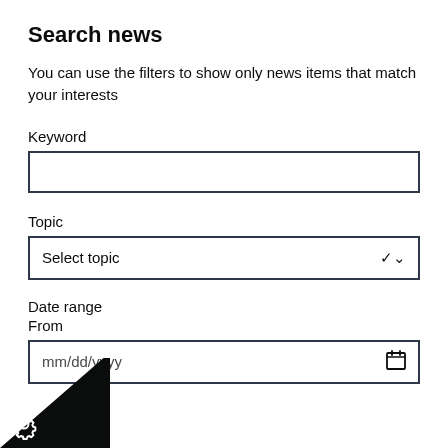Search news
You can use the filters to show only news items that match your interests
Keyword
Topic
Select topic
Date range
From
mm/dd/yyyy